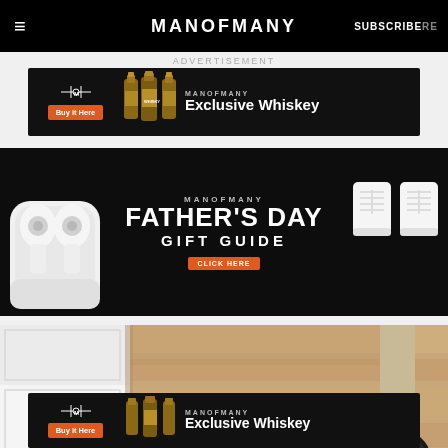MANOFMANY — SUBSCRIBE
ADVERTISEMENT
[Figure (infographic): Man of Many Exclusive Whiskey advertisement banner with buy button and whiskey bottles]
[Figure (infographic): Man of Many Father's Day Gift Guide banner with AirPods and white sneakers]
[Figure (photo): Robot vacuum cleaner on wooden floor near white cabinet and table leg]
[Figure (infographic): Man of Many Exclusive Whiskey advertisement banner (bottom), partially visible]